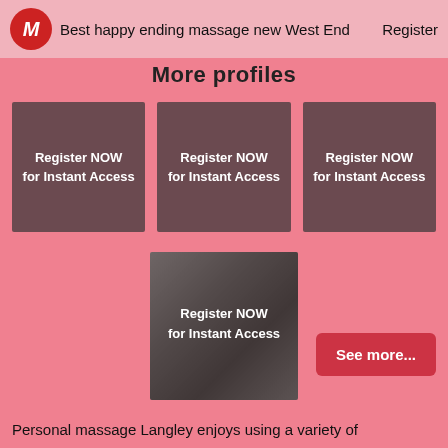Best happy ending massage new West End  Register
More profiles
[Figure (other): Profile card 1 with dark mauve background and text 'Register NOW for Instant Access']
[Figure (other): Profile card 2 with dark mauve background and text 'Register NOW for Instant Access']
[Figure (other): Profile card 3 with dark mauve background and text 'Register NOW for Instant Access']
[Figure (photo): Profile card with photo background and text 'Register NOW for Instant Access']
See more...
Personal massage Langley enjoys using a variety of